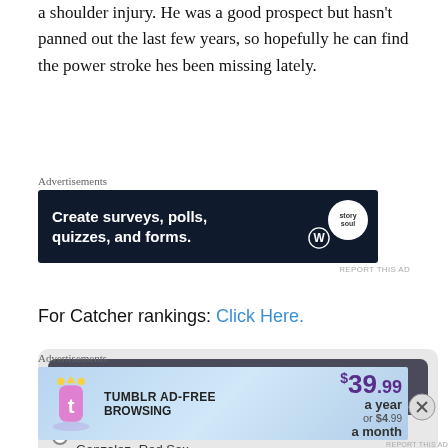a shoulder injury. He was a good prospect but hasn't panned out the last few years, so hopefully he can find the power stroke hes been missing lately.
[Figure (screenshot): Advertisement banner: dark navy background with text 'Create surveys, polls, quizzes, and forms.' with WordPress and Stroll logos]
For Catcher rankings: Click Here.
[Figure (screenshot): Poll widget asking 'Which Catcher- First Base Combo would you rather have?' with radio option 'Jarrod Saltalamacchia and Adrian Gonzalez -Red Sox']
[Figure (screenshot): Advertisement banner for Tumblr Ad-Free Browsing: $39.99 a year or $4.99 a month]